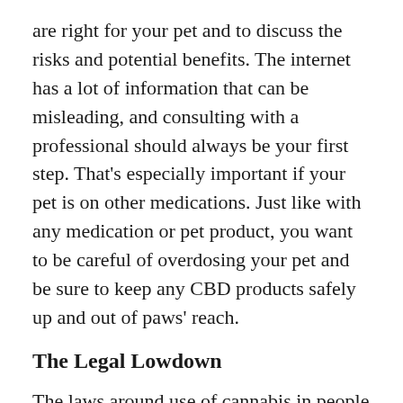are right for your pet and to discuss the risks and potential benefits. The internet has a lot of information that can be misleading, and consulting with a professional should always be your first step. That's especially important if your pet is on other medications. Just like with any medication or pet product, you want to be careful of overdosing your pet and be sure to keep any CBD products safely up and out of paws' reach.
The Legal Lowdown
The laws around use of cannabis in people and pets have been slow in keeping up with public opinion. The DEA still considers marijuana a Schedule I drug, meaning it is not considered to have any medical value.